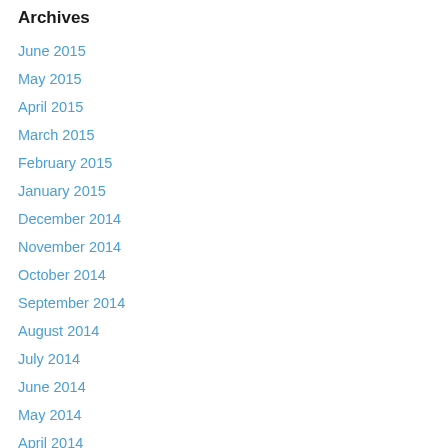Archives
June 2015
May 2015
April 2015
March 2015
February 2015
January 2015
December 2014
November 2014
October 2014
September 2014
August 2014
July 2014
June 2014
May 2014
April 2014
March 2014
February 2014
January 2014
December 2013